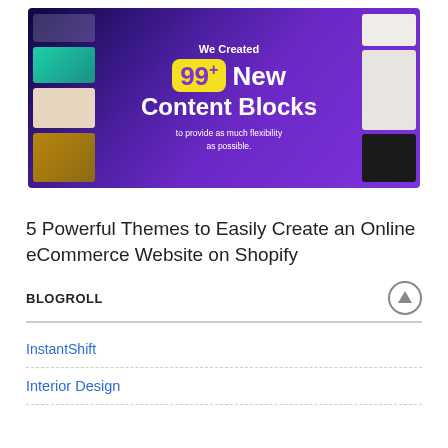[Figure (screenshot): Purple/dark banner image promoting '99+ New Content Blocks to provide as much flexibility as possible' with website layout thumbnails on sides]
5 Powerful Themes to Easily Create an Online eCommerce Website on Shopify
BLOGROLL
InstantShift
Interior Design